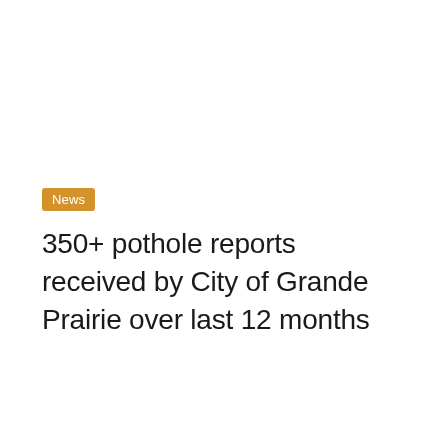News
350+ pothole reports received by City of Grande Prairie over last 12 months